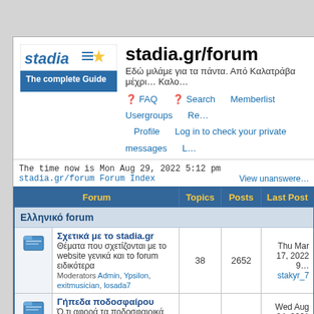stadia.gr/forum
Εδώ μιλάμε για τα πάντα. Από Καλατράβα μέχρι… Καλο…
[Figure (logo): stadia.gr/forum logo with star and 'The complete Guide' text on blue background]
FAQ   Search   Memberlist   Usergroups   R…   Profile   Log in to check your private messages   L…
The time now is Mon Aug 29, 2022 5:12 pm
stadia.gr/forum Forum Index   View unanswere…
| Forum | Topics | Posts | Last Post |
| --- | --- | --- | --- |
| Ελληνικό forum |  |  |  |
| Σχετικά με το stadia.gr
Θέματα που σχετίζονται με το website γενικά και το forum ειδικότερα
Moderators Admin, Ypsilon, exitmusician, losada7 | 38 | 2652 | Thu Mar 17, 2022 9…
stakyr_7 |
| Γήπεδα ποδοσφαίρου
Ό,τι αφορά τα ποδοσφαιρικά στάδια της Ελλάδας και του εξωτερικού
Moderators Admin, Ypsilon… | 70 | 23022 | Wed Aug 04, 2021 1…
petalo |